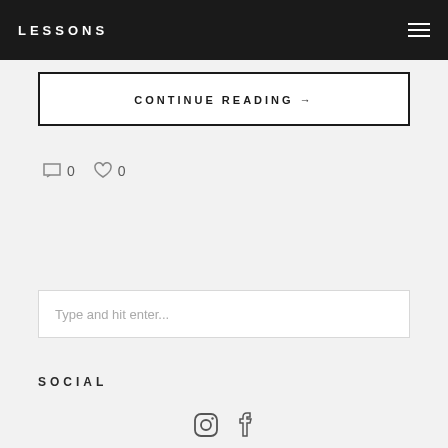LESSONS
CONTINUE READING →
0  0
Type and hit enter...
SOCIAL
[Figure (other): Instagram and Facebook social media icons]